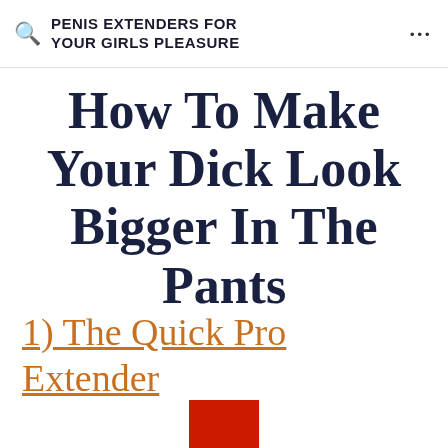PENIS EXTENDERS FOR YOUR GIRLS PLEASURE
How To Make Your Dick Look Bigger In The Pants
1) The Quick Pro Extender
[Figure (other): Red rectangle partially visible at bottom of page]